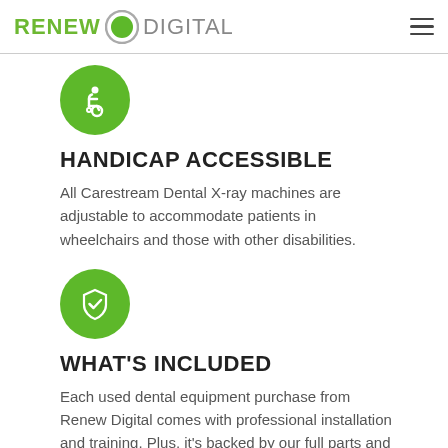RENEW DIGITAL
[Figure (logo): Renew Digital logo with green circle and hamburger menu icon]
[Figure (illustration): Green circle with white wheelchair accessibility icon]
HANDICAP ACCESSIBLE
All Carestream Dental X-ray machines are adjustable to accommodate patients in wheelchairs and those with other disabilities.
[Figure (illustration): Green circle with white shield checkmark icon]
WHAT'S INCLUDED
Each used dental equipment purchase from Renew Digital comes with professional installation and training. Plus, it's backed by our full parts and onsite service warranty, including unlimited technical support from the Renew Digital